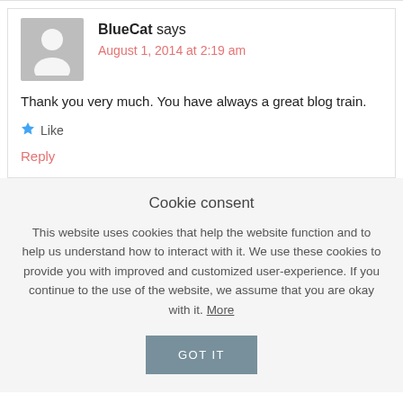BlueCat says
August 1, 2014 at 2:19 am
Thank you very much. You have always a great blog train.
★ Like
Reply
Cookie consent
This website uses cookies that help the website function and to help us understand how to interact with it. We use these cookies to provide you with improved and customized user-experience. If you continue to the use of the website, we assume that you are okay with it. More
GOT IT